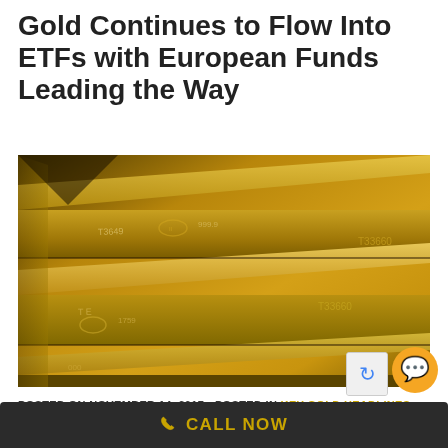Gold Continues to Flow Into ETFs with European Funds Leading the Way
[Figure (photo): Close-up photograph of stacked gold bullion bars with engraved serial numbers and markings, showing their characteristic golden metallic sheen.]
POSTED ON NOVEMBER 14, 2017  - POSTED IN KEY GOLD HEADLINES
CALL NOW